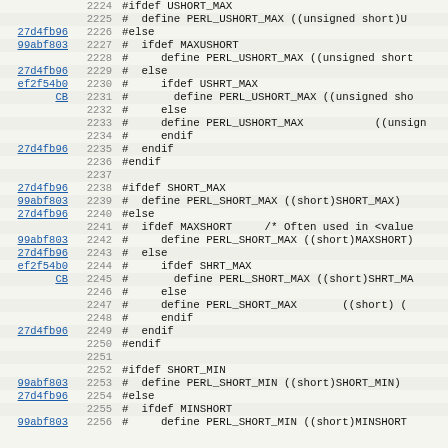Source code diff view lines 2224-2256, showing C preprocessor macros for PERL_USHORT_MAX, PERL_SHORT_MAX, PERL_SHORT_MIN with commit hashes 27d4fb96, 99abf803, ef2f54b0, CB